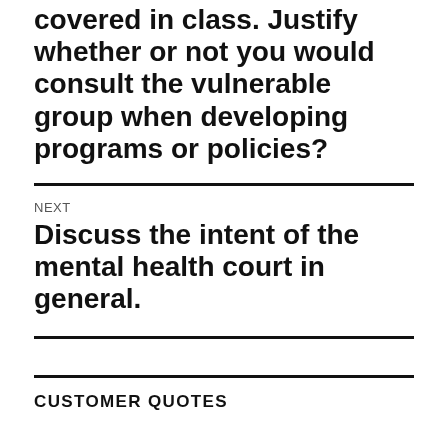covered in class. Justify whether or not you would consult the vulnerable group when developing programs or policies?
NEXT
Discuss the intent of the mental health court in general.
CUSTOMER QUOTES